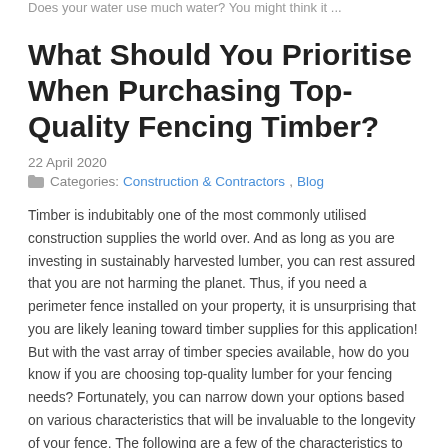Does your water use much water? You might think it ...
What Should You Prioritise When Purchasing Top-Quality Fencing Timber?
22 April 2020
Categories: Construction & Contractors, Blog
Timber is indubitably one of the most commonly utilised construction supplies the world over. And as long as you are investing in sustainably harvested lumber, you can rest assured that you are not harming the planet. Thus, if you need a perimeter fence installed on your property, it is unsurprising that you are likely leaning toward timber supplies for this application! But with the vast array of timber species available, how do you know if you are choosing top-quality lumber for your fencing needs? Fortunately, you can narrow down your options based on various characteristics that will be invaluable to the longevity of your fence. The following are a few of the characteristics to prioritise when purchasing top-quality timber fencing.
Enhanced strength